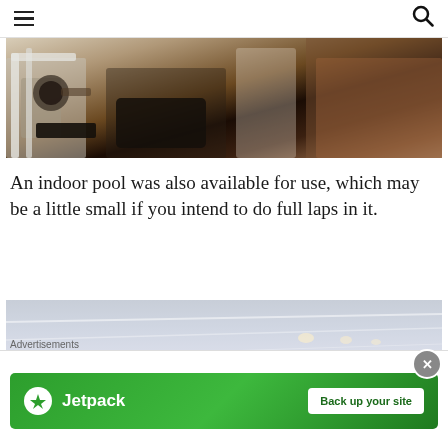≡  🔍
[Figure (photo): Indoor gym equipment including weight machines with black seats and white metal frames on wooden flooring]
An indoor pool was also available for use, which may be a little small if you intend to do full laps in it.
[Figure (photo): Indoor pool area with a white ceiling and recessed lighting, viewed from a wide-angle lens]
Advertisements
[Figure (screenshot): Jetpack advertisement banner with green background showing Jetpack logo and 'Back up your site' button]